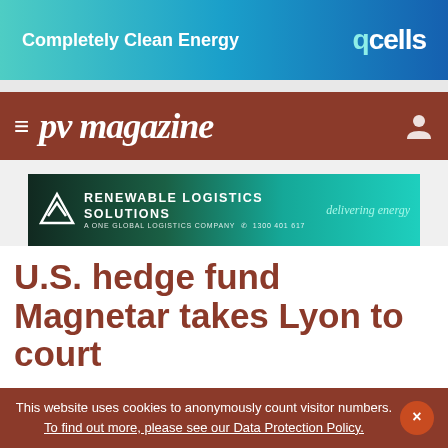[Figure (screenshot): Qcells advertisement banner reading 'Completely Clean Energy' on gradient blue background with 'qcells' logo]
≡ pv magazine
[Figure (screenshot): Renewable Logistics Solutions advertisement banner with logo, tagline 'A ONE GLOBAL LOGISTICS COMPANY', phone '1300 401 617', and 'delivering energy' on teal gradient]
U.S. hedge fund Magnetar takes Lyon to court
U.S.-based hedge fund Magnetar Capital, a 25% investor in a Lyon subsidiary, is seeking to wind up
This website uses cookies to anonymously count visitor numbers. To find out more, please see our Data Protection Policy.